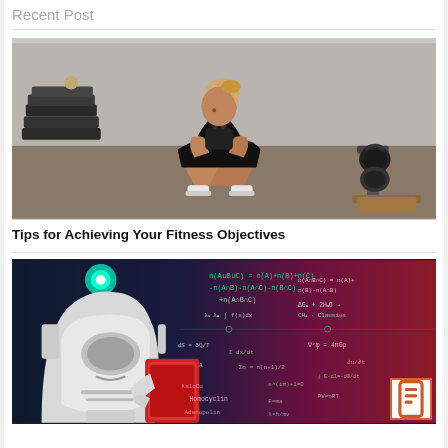Recent Post
[Figure (photo): Woman doing a squat in a gym while holding a kettlebell close to her chest, wearing black workout clothes, with gym equipment in the background.]
Tips for Achieving Your Fitness Objectives
[Figure (photo): AI robot head facing right with mathematical formulas and equations overlaid on a pink/magenta background — representing artificial intelligence and science.]